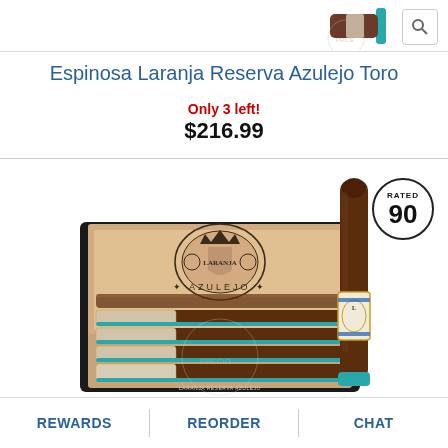[Figure (photo): Small cigar product thumbnail in top header area]
Espinosa Laranja Reserva Azulejo Toro
Only 3 left!
$216.99
[Figure (photo): Open wooden box of Espinosa Laranja Reserva Azulejo cigars with teal foot bands and a single cigar standing upright showing the band label, with a 'Rated 90' badge]
REWARDS   REORDER   CHAT